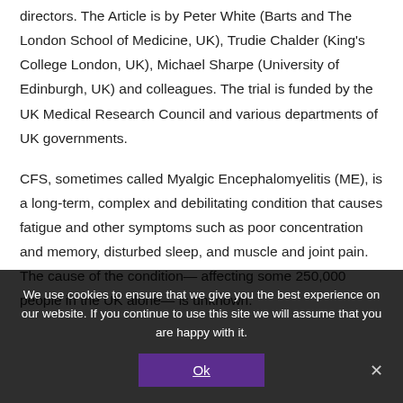directors. The Article is by Peter White (Barts and The London School of Medicine, UK), Trudie Chalder (King's College London, UK), Michael Sharpe (University of Edinburgh, UK) and colleagues. The trial is funded by the UK Medical Research Council and various departments of UK governments.
CFS, sometimes called Myalgic Encephalomyelitis (ME), is a long-term, complex and debilitating condition that causes fatigue and other symptoms such as poor concentration and memory, disturbed sleep, and muscle and joint pain. The cause of the condition— affecting some 250,000 people in the UK alone— is unknown.
We use cookies to ensure that we give you the best experience on our website. If you continue to use this site we will assume that you are happy with it. Ok ×